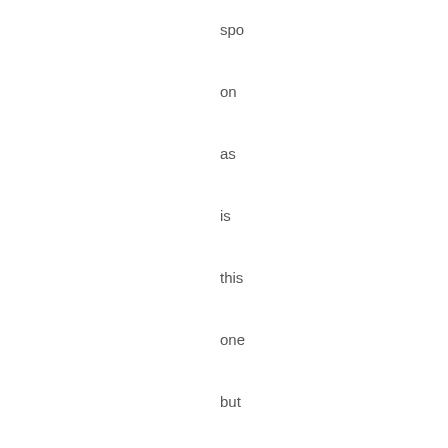spo
on
as
is
this
one
but
I
did
dig
dee
usin
Tan
Scr
twe
boo
quo